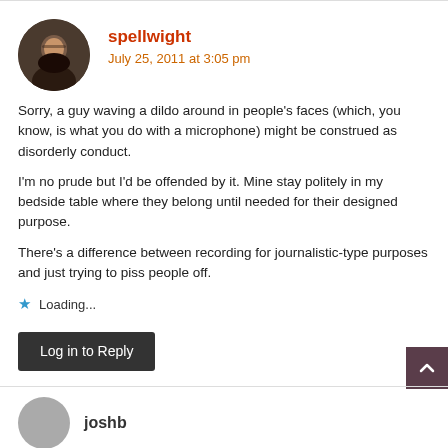spellwight
July 25, 2011 at 3:05 pm
Sorry, a guy waving a dildo around in people’s faces (which, you know, is what you do with a microphone) might be construed as disorderly conduct.
I’m no prude but I’d be offended by it. Mine stay politely in my bedside table where they belong until needed for their designed purpose.
There’s a difference between recording for journalistic-type purposes and just trying to piss people off.
Loading...
Log in to Reply
joshb